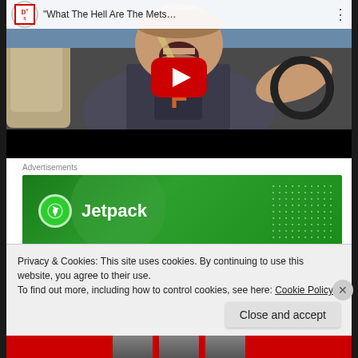[Figure (screenshot): YouTube video thumbnail showing a man in a car wearing a Florida Olympia shirt with mouth open, title 'What The Hell Are The Mets...' with YouTube play button overlay]
Advertisements
[Figure (other): Jetpack advertisement banner with green background, Jetpack logo and text]
Privacy & Cookies: This site uses cookies. By continuing to use this website, you agree to their use.
To find out more, including how to control cookies, see here: Cookie Policy
Close and accept